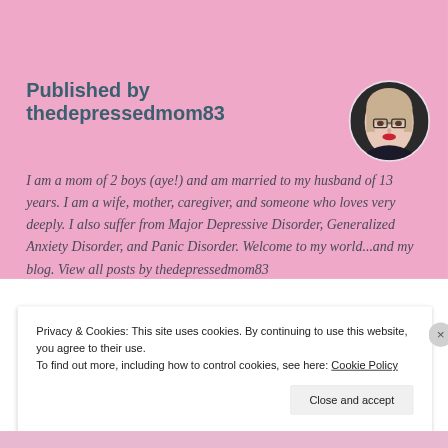Published by thedepressedmom83
[Figure (photo): Circular avatar photo of a woman with glasses and red lipstick wearing dark clothing, against a dark background]
I am a mom of 2 boys (aye!) and am married to my husband of 13 years. I am a wife, mother, caregiver, and someone who loves very deeply. I also suffer from Major Depressive Disorder, Generalized Anxiety Disorder, and Panic Disorder. Welcome to my world...and my blog. View all posts by thedepressedmom83
Privacy & Cookies: This site uses cookies. By continuing to use this website, you agree to their use.
To find out more, including how to control cookies, see here: Cookie Policy
Close and accept